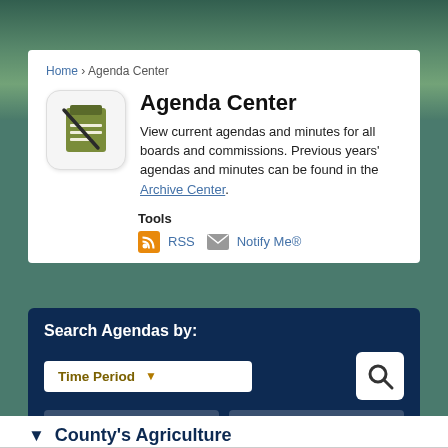Home › Agenda Center
Agenda Center
View current agendas and minutes for all boards and commissions. Previous years' agendas and minutes can be found in the Archive Center.
Tools
RSS   Notify Me®
Search Agendas by:
Time Period
Start Date
End Date
Word or Phrase
Select a Category
▼ County's Agriculture Development Board (CADB)